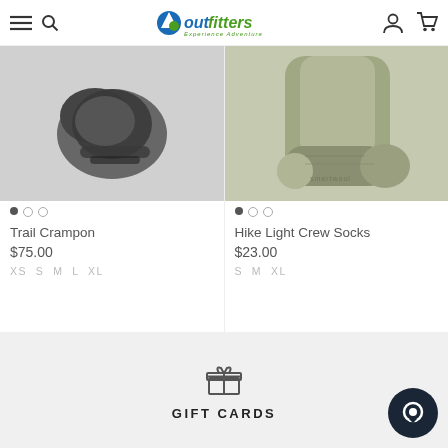Outfitters – Experience Adventure – navigation header with hamburger menu, search, logo, account and cart icons
[Figure (photo): Trail Crampon product photo – dark grey crampons on white background with carousel dots]
Trail Crampon
$75.00
XS  S  M  L  XL
[Figure (photo): Hike Light Crew Socks product photo – olive/sage green socks on white background with carousel dots]
Hike Light Crew Socks
$23.00
S  M  XL
GIFT CARDS